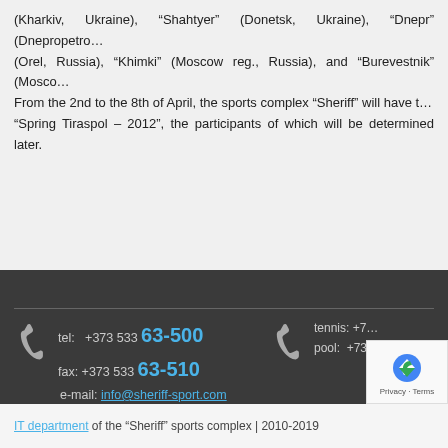(Kharkiv, Ukraine), "Shahtyer" (Donetsk, Ukraine), "Dnepr" (Dnepropetro... (Orel, Russia), "Khimki" (Moscow reg., Russia), and "Burevestnik" (Mosco... From the 2nd to the 8th of April, the sports complex "Sheriff" will have t... "Spring Tiraspol – 2012", the participants of which will be determined later.
tel: +373 533 63-500 fax: +373 533 63-510 e-mail: info@sheriff-sport.com tennis: +7... pool: +73...
IT department of the "Sheriff" sports complex | 2010-2019